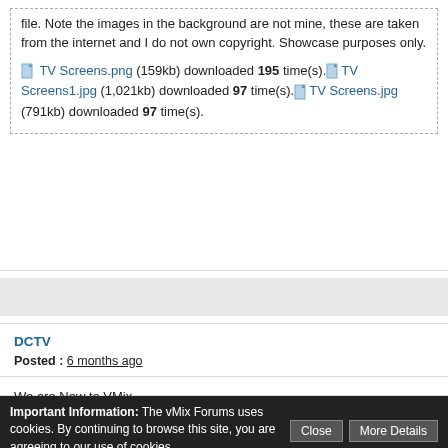file. Note the images in the background are not mine, these are taken from the internet and I do not own copyright. Showcase purposes only.
TV Screens.png (159kb) downloaded 195 time(s). TV Screens1.jpg (1,021kb) downloaded 97 time(s). TV Screens.jpg (791kb) downloaded 97 time(s).
DCTV
Posted : 6 months ago
We are New to VMix.
Gr8 Job on your BG.
How did you key the city BG under your Monitor Overlay.
We got the pips Not EZ But... How to save their position would help.
Long Here Sorry Thanks.
Important Information: The vMix Forums uses cookies. By continuing to browse this site, you are agreeing to our use of cookies.